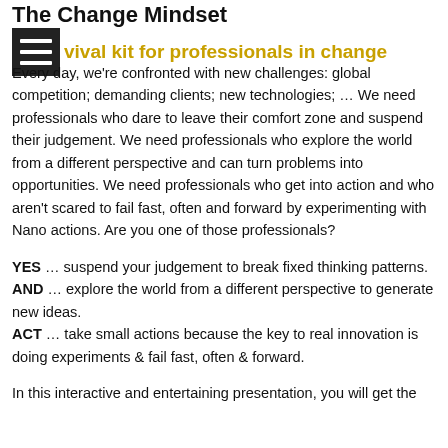The Change Mindset
Survival kit for professionals in change
Every day, we're confronted with new challenges: global competition; demanding clients; new technologies; ... We need professionals who dare to leave their comfort zone and suspend their judgement. We need professionals who explore the world from a different perspective and can turn problems into opportunities. We need professionals who get into action and who aren't scared to fail fast, often and forward by experimenting with Nano actions. Are you one of those professionals?
YES ... suspend your judgement to break fixed thinking patterns.
AND ... explore the world from a different perspective to generate new ideas.
ACT ... take small actions because the key to real innovation is doing experiments & fail fast, often & forward.
In this interactive and entertaining presentation, you will get the